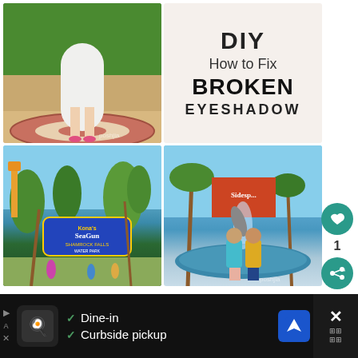[Figure (photo): Woman in white dress and pink heels standing on circular brick patio with green hedge background]
[Figure (infographic): DIY How to Fix BROKEN EYESHADOW text on light background]
[Figure (photo): SeaWorld water park entrance sign with palm trees]
[Figure (photo): Two children standing in front of a fountain at SeaWorld]
Follow On Pinterest
1
[Figure (screenshot): Advertisement bar: Dine-in, Curbside pickup with restaurant logo and navigation icon]